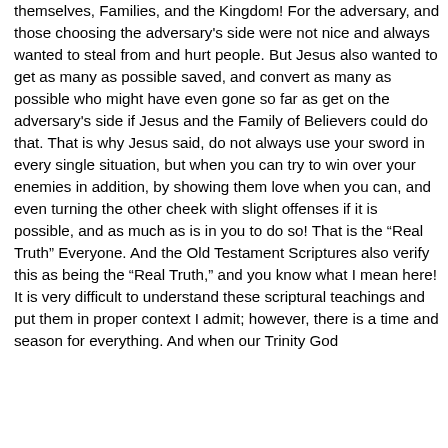themselves, Families, and the Kingdom! For the adversary, and those choosing the adversary's side were not nice and always wanted to steal from and hurt people. But Jesus also wanted to get as many as possible saved, and convert as many as possible who might have even gone so far as get on the adversary's side if Jesus and the Family of Believers could do that. That is why Jesus said, do not always use your sword in every single situation, but when you can try to win over your enemies in addition, by showing them love when you can, and even turning the other cheek with slight offenses if it is possible, and as much as is in you to do so! That is the “Real Truth” Everyone. And the Old Testament Scriptures also verify this as being the “Real Truth,” and you know what I mean here! It is very difficult to understand these scriptural teachings and put them in proper context I admit; however, there is a time and season for everything. And when our Trinity God